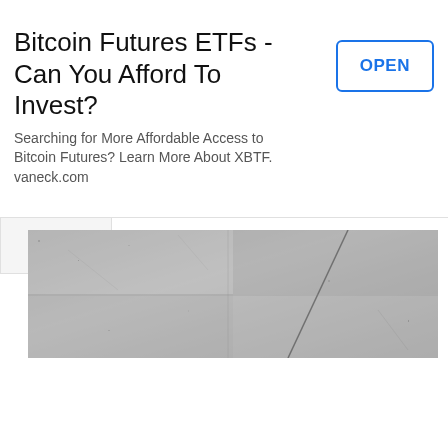Bitcoin Futures ETFs - Can You Afford To Invest?
Searching for More Affordable Access to Bitcoin Futures? Learn More About XBTF. vaneck.com
[Figure (photo): Stone or concrete textured surface photo strip showing cracked grey stone tiles]